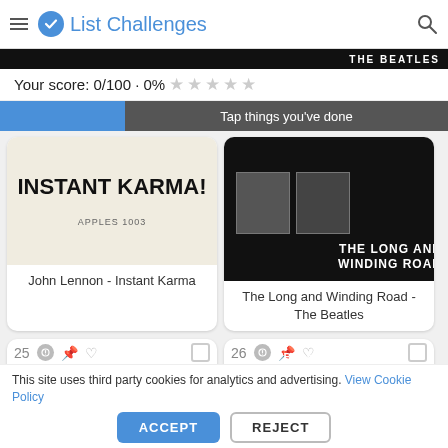List Challenges
Your score: 0/100 · 0% ★★★★★
Tap things you've done
[Figure (photo): Album cover for John Lennon - Instant Karma! showing white shirt with APPLES 1003 text]
John Lennon - Instant Karma
[Figure (photo): Album cover for The Long and Winding Road by The Beatles, black background with two figures]
The Long and Winding Road - The Beatles
25
[Figure (photo): Album cover for Norman Greenbaum, red and grey with stars]
26
[Figure (photo): Ball of Confusion (That's What The World Is Today) by The Temptations, black album cover]
This site uses third party cookies for analytics and advertising. View Cookie Policy
ACCEPT
REJECT